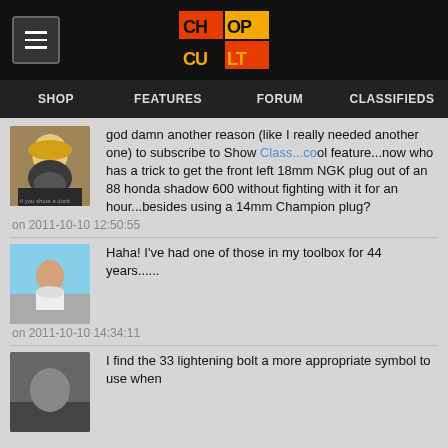CHOP CULT — SHOP | FEATURES | FORUM | CLASSIFIEDS
god damn another reason (like I really needed another one) to subscribe to Show Class...cool feature...now who has a trick to get the front left 18mm NGK plug out of an 88 honda shadow 600 without fighting with it for an hour...besides using a 14mm Champion plug?
on 2011-10-10 12:50:55
Haha! I've had one of those in my toolbox for 44 years......
on 2011-10-10 14:34:11
I find the 33 lightening bolt a more appropriate symbol to use when